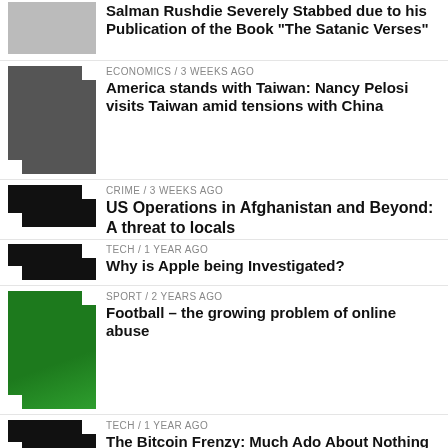Salman Rushdie Severely Stabbed due to his Publication of the Book "The Satanic Verses"
ECONOMICS / 3 weeks ago
America stands with Taiwan: Nancy Pelosi visits Taiwan amid tensions with China
CRIME / 3 weeks ago
US Operations in Afghanistan and Beyond: A threat to locals
TECH / 1 year ago
Why is Apple being Investigated?
SPORT / 2 years ago
Football – the growing problem of online abuse
TECH / 1 year ago
The Bitcoin Frenzy: Much Ado About Nothing
WORLD / 1 year ago
Salman Rushdie and Free Speech: Lessons I Learnt at School